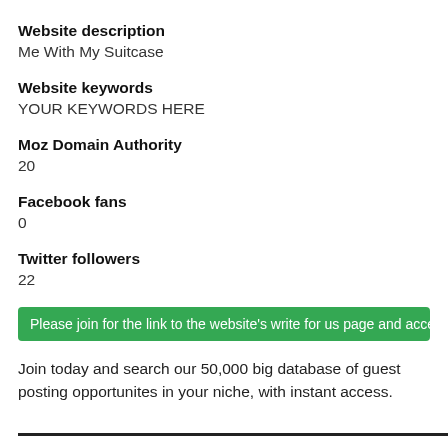Website description
Me With My Suitcase
Website keywords
YOUR KEYWORDS HERE
Moz Domain Authority
20
Facebook fans
0
Twitter followers
22
Please join for the link to the website's write for us page and access to
Join today and search our 50,000 big database of guest posting opportunites in your niche, with instant access.